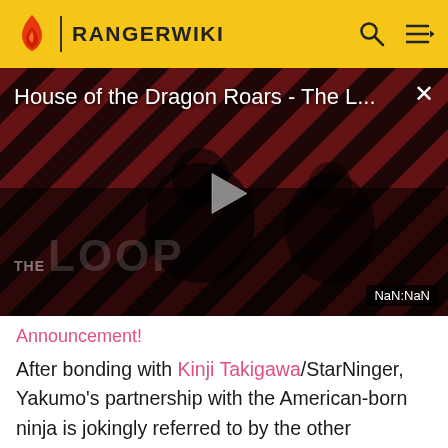RANGERWIKI
[Figure (screenshot): Video player thumbnail for 'House of the Dragon Roars - The L...' with diagonal red/black stripes background, a dark silhouette of a person, THE LOOP logo text, and a play button in the center. NaN:NaN timestamp shown.]
Announcement!
After bonding with Kinji Takigawa/StarNinger, Yakumo's partnership with the American-born ninja is jokingly referred to by the other Ninningers as the Western Combo (洋風コンビ, Ōbei Konbi, Western Combi), coined by